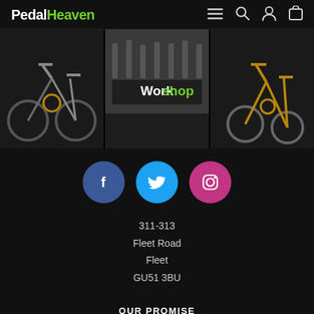PedalHeaven — navigation bar with menu, search, account, cart icons
[Figure (photo): Three panel image strip: left panel shows a dark road bike, center panel shows a workshop interior with bikes on wall mounts and 'Workshop' text overlay, right panel shows a close-up of a mountain bike frame in black and gold]
[Figure (infographic): Three social media icons in circles: Facebook (blue), Twitter (light blue), Instagram (pink/magenta)]
311-313
Fleet Road
Fleet
GU51 3BU
OUR PROMISE